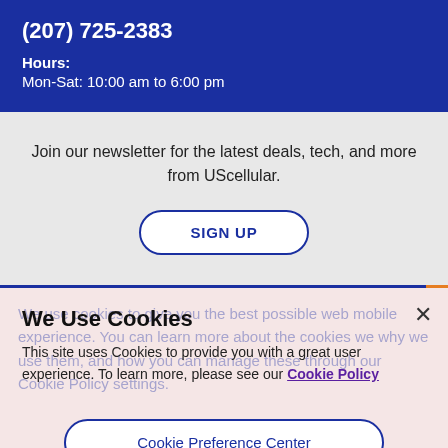(207) 725-2383
Hours:
Mon-Sat: 10:00 am to 6:00 pm
Join our newsletter for the latest deals, tech, and more from UScellular.
SIGN UP
We Use Cookies
This site uses Cookies to provide you with a great user experience. To learn more, please see our Cookie Policy
Cookie Preference Center
Accept All Cookies